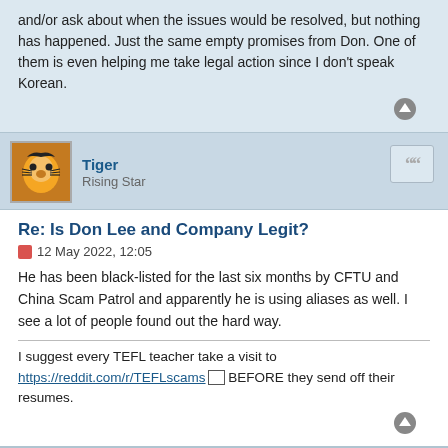and/or ask about when the issues would be resolved, but nothing has happened. Just the same empty promises from Don. One of them is even helping me take legal action since I don't speak Korean.
Tiger
Rising Star
Re: Is Don Lee and Company Legit?
12 May 2022, 12:05
He has been black-listed for the last six months by CFTU and China Scam Patrol and apparently he is using aliases as well. I see a lot of people found out the hard way.
I suggest every TEFL teacher take a visit to https://reddit.com/r/TEFLscams BEFORE they send off their resumes.
John V55
Top Contributor
Re: Is Don Lee and Company Legit?
23 May 2022, 17:30
I sort of feel sorry for you Kingadama, but not a lot. Why do you fall for it? It's like an endless production line of problems coming out of the private